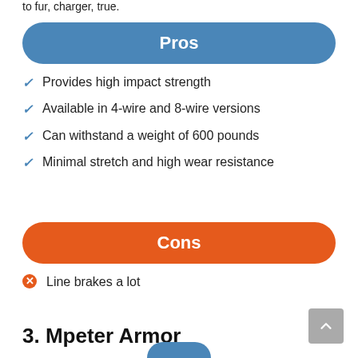to fur, charger, true.
Pros
Provides high impact strength
Available in 4-wire and 8-wire versions
Can withstand a weight of 600 pounds
Minimal stretch and high wear resistance
Cons
Line brakes a lot
3. Mpeter Armor